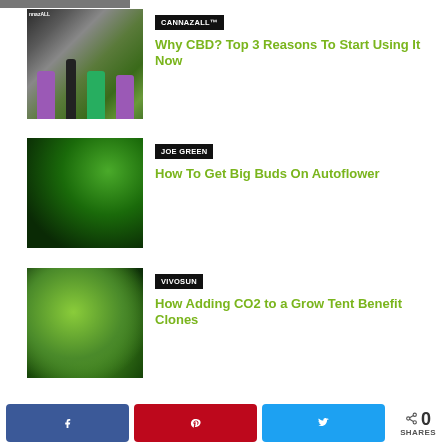[Figure (photo): Partial cropped photo at top of page]
CANNAZALL™
Why CBD? Top 3 Reasons To Start Using It Now
[Figure (photo): Cannabis product bottles - CBD tinctures and supplements]
JOE GREEN
How To Get Big Buds On Autoflower
[Figure (photo): Cannabis plant with large buds, autoflower variety]
VIVOSUN
How Adding CO2 to a Grow Tent Benefit Clones
[Figure (photo): Cannabis clone plant in grow tent]
0
SHARES